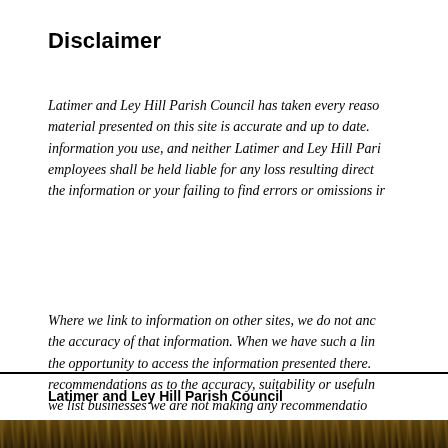Disclaimer
Latimer and Ley Hill Parish Council has taken every reasonable care to ensure that the material presented on this site is accurate and up to date. However, you use the information you use, and neither Latimer and Ley Hill Parish Council nor its employees shall be held liable for any loss resulting directly or indirectly from using the information or your failing to find errors or omissions in
Where we link to information on other sites, we do not and cannot guarantee the accuracy of that information. When we have such a link, you will be given the opportunity to access the information presented there. We are not making recommendations as to the accuracy, suitability or usefulness of that information. Where we list businesses we are not making any recommendations
Latimer and Ley Hill Parish Council